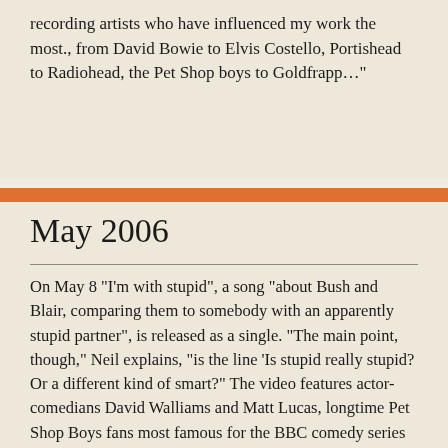recording artists who have influenced my work the most., from David Bowie to Elvis Costello, Portishead to Radiohead, the Pet Shop boys to Goldfrapp…"
May 2006
On May 8 "I'm with stupid", a song "about Bush and Blair, comparing them to somebody with an apparently stupid partner", is released as a single. "The main point, though," Neil explains, "is the line 'Is stupid really stupid? Or a different kind of smart?" The video features actor-comedians David Walliams and Matt Lucas, longtime Pet Shop Boys fans most famous for the BBC comedy series Little Britain, playing the Pet Shop Boys in a low-rent